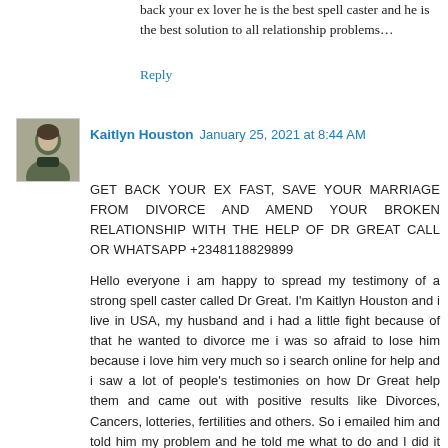back your ex lover he is the best spell caster and he is the best solution to all relationship problems…
Reply
Kaitlyn Houston  January 25, 2021 at 8:44 AM
GET BACK YOUR EX FAST, SAVE YOUR MARRIAGE FROM DIVORCE AND AMEND YOUR BROKEN RELATIONSHIP WITH THE HELP OF DR GREAT CALL OR WHATSAPP +2348118829899
Hello everyone i am happy to spread my testimony of a strong spell caster called Dr Great. I'm Kaitlyn Houston and i live in USA, my husband and i had a little fight because of that he wanted to divorce me i was so afraid to lose him because i love him very much so i search online for help and i saw a lot of people's testimonies on how Dr Great help them and came out with positive results like Divorces, Cancers, lotteries, fertilities and others. So i emailed him and told him my problem and he told me what to do and I did it as he instructed, 24 hours later he told me he is done with the spell and my husband will no longer divorce me